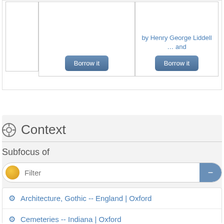[Figure (screenshot): Top section showing two book card UI elements with 'Borrow it' buttons. Left card is mostly empty, middle card has a 'Borrow it' button, right card shows blue text 'by Henry George Liddell ... and' and a 'Borrow it' button.]
by Henry George Liddell ... and
<> Embed
Context
Subfocus of
Filter
Architecture, Gothic -- England | Oxford
Cemeteries -- Indiana | Oxford
Cemeteries -- Ohio | Oxford
Church architecture -- England | Oxford
College teachers -- Ohio | Oxford -- Genealogy